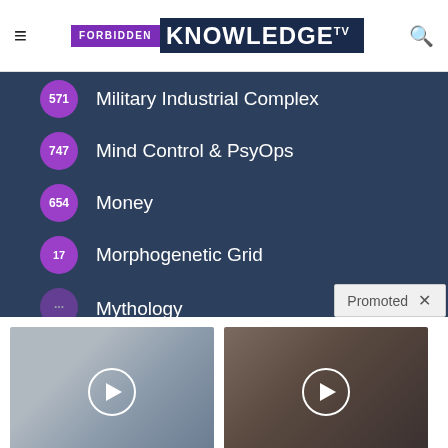Forbidden Knowledge TV
571 Military Industrial Complex
747 Mind Control & PsyOps
654 Money
17 Morphogenetic Grid
Mythology
Promoted
[Figure (photo): Video thumbnail showing a woman in a suit outdoors near a building]
Nancy Pelosi Wants This Video Destroyed — Watch Now Before It's Banned
Watch The Video
[Figure (photo): Video thumbnail showing close-up of elderly hands resting on a surface]
4 Worst Blood Pressure Drugs (Avoid At All Costs)
Watch The Video